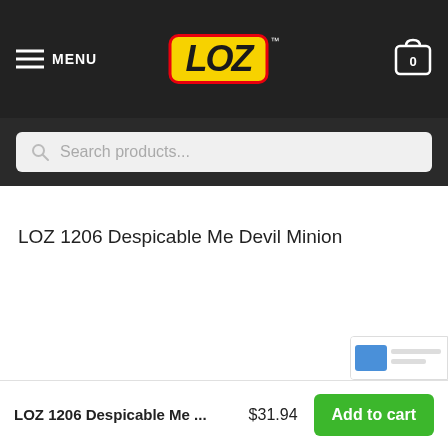MENU | LOZ Logo | Cart (0)
Search products...
LOZ 1206 Despicable Me Devil Minion
LOZ 1206 Despicable Me ... $31.94 Add to cart